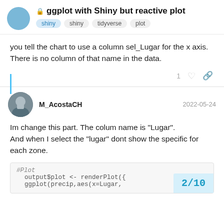ggplot with Shiny but reactive plot
you tell the chart to use a column sel_Lugar for the x axis.
There is no column of that name in the data.
M_AcostaCH  2022-05-24
Im change this part. The colum name is "Lugar".
And when I select the "lugar" dont show the specific for each zone.
#Plot
    output$plot <- renderPlot({
    ggplot(precip,aes(x=Lugar,